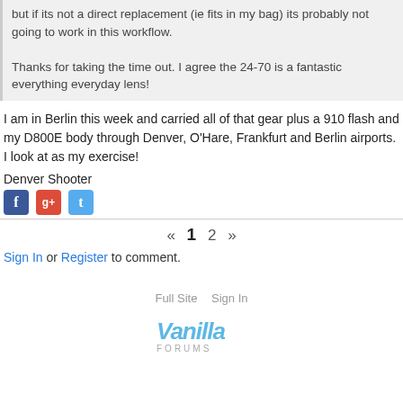but if its not a direct replacement (ie fits in my bag) its probably not going to work in this workflow.

Thanks for taking the time out. I agree the 24-70 is a fantastic everything everyday lens!
I am in Berlin this week and carried all of that gear plus a 910 flash and my D800E body through Denver, O'Hare, Frankfurt and Berlin airports. I look at as my exercise!
Denver Shooter
[Figure (infographic): Social sharing icons: Facebook (blue), Google+ (red), Twitter (light blue)]
« 1 2 »
Sign In or Register to comment.
Full Site   Sign In
[Figure (logo): Vanilla Forums logo]